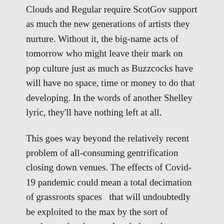Clouds and Regular require ScotGov support as much the new generations of artists they nurture. Without it, the big-name acts of tomorrow who might leave their mark on pop culture just as much as Buzzcocks have will have no space, time or money to do that developing. In the words of another Shelley lyric, they'll have nothing left at all.
This goes way beyond the relatively recent problem of all-consuming gentrification closing down venues. The effects of Covid-19 pandemic could mean a total decimation of grassroots spaces  that will undoubtedly be exploited to the max by the sort of predatory developers already hovering. Beyond the buildings themselves, the communities and social scenes that occupy them will be locked out for good.
One imagines many of the regulars watching Buzzcocks at Clouds to be either on the dole or in lieu of student grants in